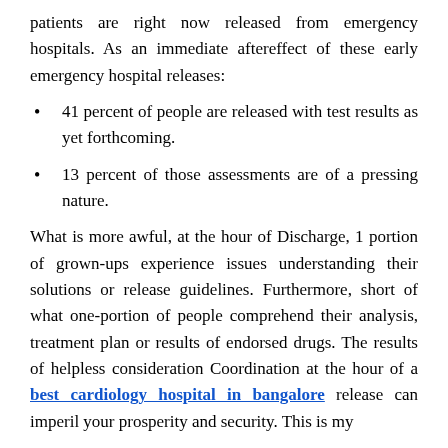patients are right now released from emergency hospitals. As an immediate aftereffect of these early emergency hospital releases:
41 percent of people are released with test results as yet forthcoming.
13 percent of those assessments are of a pressing nature.
What is more awful, at the hour of Discharge, 1 portion of grown-ups experience issues understanding their solutions or release guidelines. Furthermore, short of what one-portion of people comprehend their analysis, treatment plan or results of endorsed drugs. The results of helpless consideration Coordination at the hour of a best cardiology hospital in bangalore release can imperil your prosperity and security. This is my